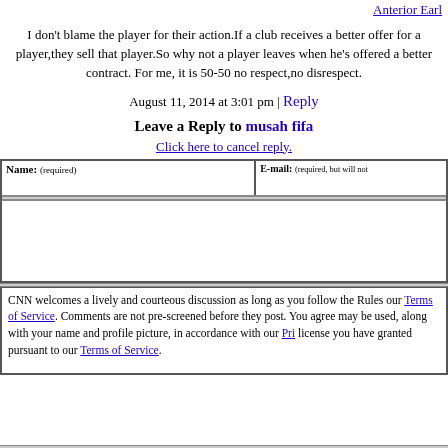Anterior Earl
I don't blame the player for their action.If a club receives a better offer for a player,they sell that player.So why not a player leaves when he's offered a better contract. For me, it is 50-50 no respect,no disrespect.
August 11, 2014 at 3:01 pm | Reply
Leave a Reply to musah fifa
Click here to cancel reply.
[Figure (other): Comment form with Name and E-mail fields and a textarea for message input]
CNN welcomes a lively and courteous discussion as long as you follow the Rules our Terms of Service. Comments are not pre-screened before they post. You agree may be used, along with your name and profile picture, in accordance with our Pri license you have granted pursuant to our Terms of Service.